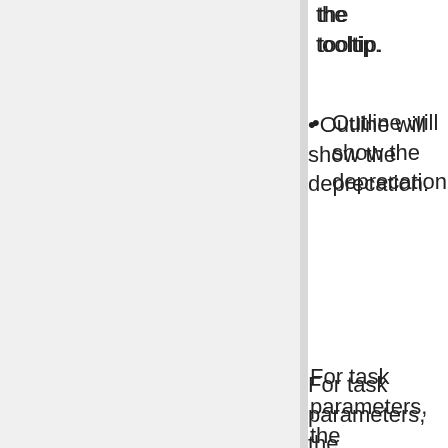the tooltip.
Outline will show the deprecation.
For task parameters, the framework has been extended with:
New String attributes deprecatedWith and deprecates for